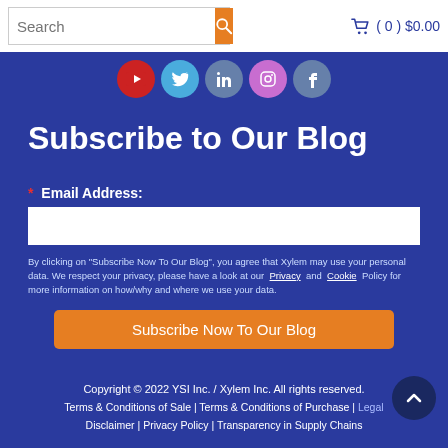info@ysi.com  Search  (0) $0.00
[Figure (illustration): Social media icons row: YouTube, Twitter, LinkedIn, Instagram, Facebook circular icons]
Subscribe to Our Blog
* Email Address:
By clicking on "Subscribe Now To Our Blog", you agree that Xylem may use your personal data. We respect your privacy, please have a look at our Privacy and Cookie Policy for more information on how/why and where we use your data.
Subscribe Now To Our Blog
Copyright © 2022 YSI Inc. / Xylem Inc. All rights reserved. Terms & Conditions of Sale | Terms & Conditions of Purchase | Legal Disclaimer | Privacy Policy | Transparency in Supply Chains